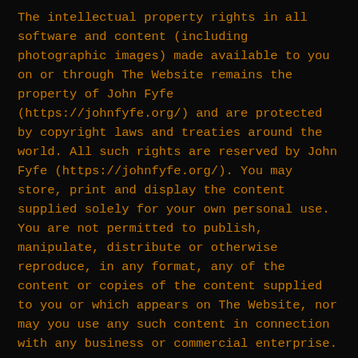The intellectual property rights in all software and content (including photographic images) made available to you on or through The Website remains the property of John Fyfe (https://johnfyfe.org/) and are protected by copyright laws and treaties around the world. All such rights are reserved by John Fyfe (https://johnfyfe.org/). You may store, print and display the content supplied solely for your own personal use. You are not permitted to publish, manipulate, distribute or otherwise reproduce, in any format, any of the content or copies of the content supplied to you or which appears on The Website, nor may you use any such content in connection with any business or commercial enterprise.
TERMS OF SALE
By placing an order, you are offering to